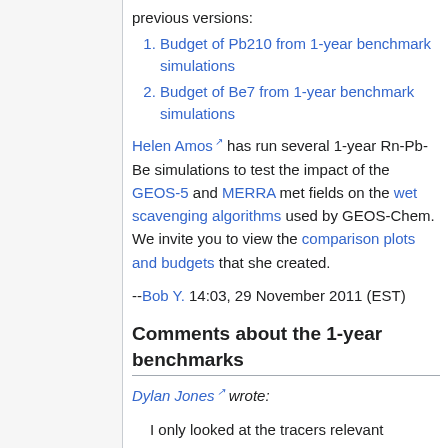previous versions:
Budget of Pb210 from 1-year benchmark simulations
Budget of Be7 from 1-year benchmark simulations
Helen Amos has run several 1-year Rn-Pb-Be simulations to test the impact of the GEOS-5 and MERRA met fields on the wet scavenging algorithms used by GEOS-Chem. We invite you to view the comparison plots and budgets that she created.
--Bob Y. 14:03, 29 November 2011 (EST)
Comments about the 1-year benchmarks
Dylan Jones wrote:
I only looked at the tracers relevant